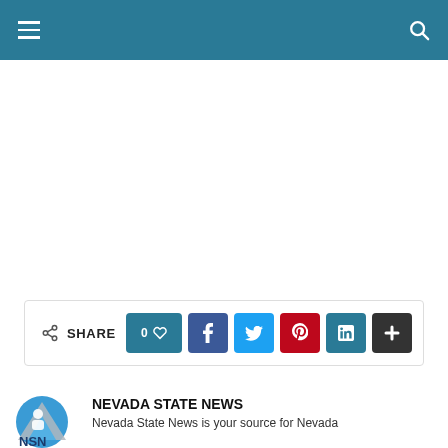Nevada State News — site header with hamburger menu and search icon
[Figure (screenshot): Empty white advertisement/banner area]
[Figure (infographic): Share bar with SHARE label, like count (0), and social buttons: heart/like, Facebook, Twitter, Pinterest, LinkedIn, more (+)]
[Figure (logo): Nevada State News logo — circular blue and gray icon with NSN lettering]
NEVADA STATE NEWS
Nevada State News is your source for Nevada